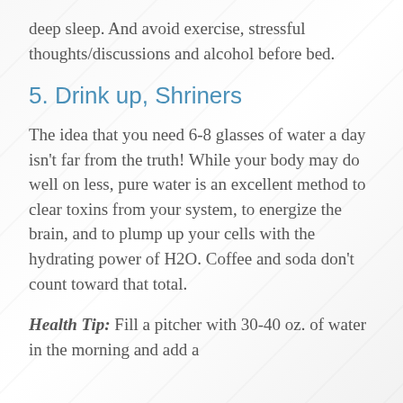deep sleep. And avoid exercise, stressful thoughts/discussions and alcohol before bed.
5. Drink up, Shriners
The idea that you need 6-8 glasses of water a day isn't far from the truth! While your body may do well on less, pure water is an excellent method to clear toxins from your system, to energize the brain, and to plump up your cells with the hydrating power of H2O. Coffee and soda don't count toward that total.
Health Tip: Fill a pitcher with 30-40 oz. of water in the morning and add a